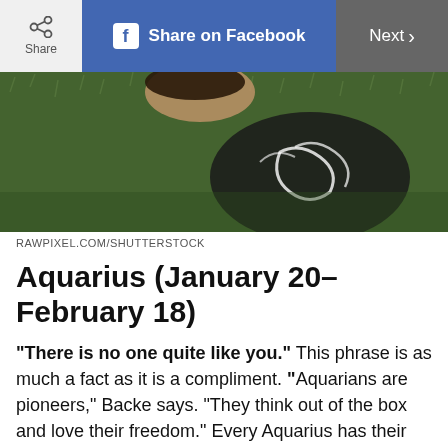Share | Share on Facebook | Next >
[Figure (photo): Person lying on green grass wearing a black and white tie-dye or patterned top, viewed from above]
RAWPIXEL.COM/SHUTTERSTOCK
Aquarius (January 20–February 18)
“There is no one quite like you.” This phrase is as much a fact as it is a compliment. “Aquarians are pioneers,” Backe says. “They think out of the box and love their freedom.” Every Aquarius has their own way of looking at and interacting with the world. This leads them to sometimes feel misunderstood, which is why having someone tell